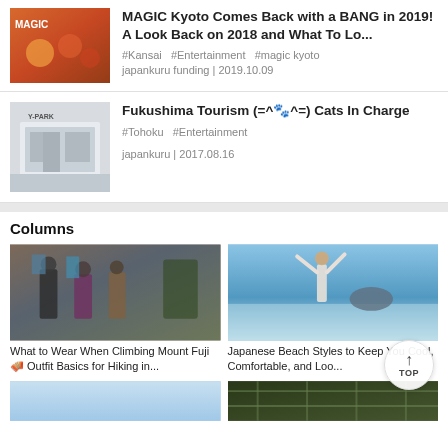[Figure (photo): Colorful MAGIC Kyoto performers in costume]
MAGIC Kyoto Comes Back with a BANG in 2019! A Look Back on 2018 and What To Lo...
#Kansai  #Entertainment  #magic kyoto
japankuru funding | 2019.10.09
[Figure (photo): Fukushima storefront building exterior]
Fukushima Tourism (=^🐾^=) Cats In Charge
#Tohoku  #Entertainment
japankuru | 2017.08.16
Columns
[Figure (photo): Three hikers with backpacks in a store, wearing outdoor gear]
[Figure (photo): Woman jumping on a beach with blue ocean and rock island in background]
What to Wear When Climbing Mount Fuji 🗻 Outfit Basics for Hiking in...
Japanese Beach Styles to Keep You Cool, Comfortable, and Loo...
[Figure (photo): Blue sky landscape photo, partially visible]
[Figure (photo): Dark green jungle netting or rope, partially visible]